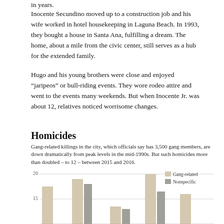Inocente Secundino moved up to a construction job and his wife worked in hotel housekeeping in Laguna Beach. In 1993, they bought a house in Santa Ana, fulfilling a dream. The home, about a mile from the civic center, still serves as a hub for the extended family.
Hugo and his young brothers were close and enjoyed “jaripeos” or bull-riding events. They wore rodeo attire and went to the events many weekends. But when Inocente Jr. was about 12, relatives noticed worrisome changes.
Homicides
Gang-related killings in the city, which officials say has 3,500 gang members, are down dramatically from peak levels in the mid-1990s. But such homicides more than doubled – to 12 – between 2015 and 2016.
[Figure (grouped-bar-chart): Homicides]